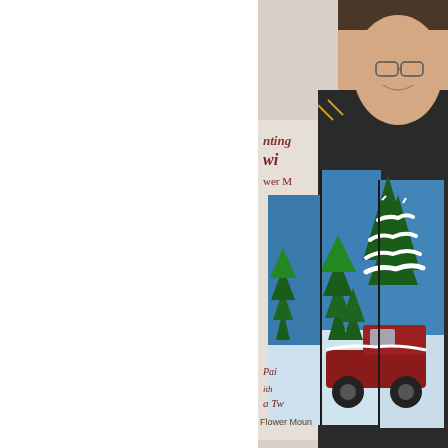[Figure (photo): A person holding a multi-panel painted artwork depicting a red vintage truck carrying a snow-covered Christmas tree against a winter blue sky background with evergreen trees. Behind the person is a banner/sign partially visible reading 'Painting with a Twist - Flower Mound' with logo elements.]